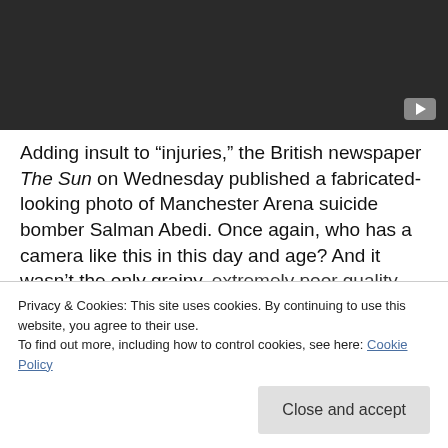[Figure (screenshot): Dark video player thumbnail with YouTube play button icon in bottom right corner]
Adding insult to “injuries,” the British newspaper The Sun on Wednesday published a fabricated-looking photo of Manchester Arena suicide bomber Salman Abedi. Once again, who has a camera like this in this day and age? And it wasn’t the only grainy, extremely poor quality photo of Abedi, as the photo
Privacy & Cookies: This site uses cookies. By continuing to use this website, you agree to their use.
To find out more, including how to control cookies, see here: Cookie Policy
Close and accept